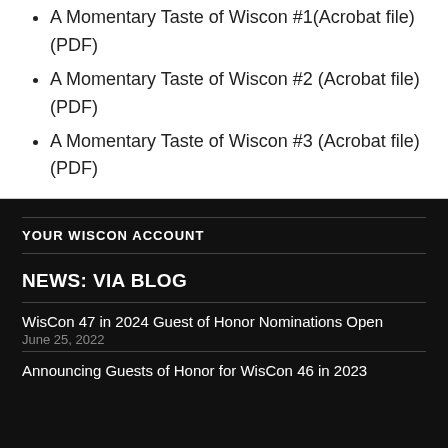A Momentary Taste of Wiscon #1(Acrobat file)(PDF)
A Momentary Taste of Wiscon #2 (Acrobat file)(PDF)
A Momentary Taste of Wiscon #3 (Acrobat file)(PDF)
YOUR WISCON ACCOUNT
NEWS: VIA BLOG
WisCon 47 in 2024 Guest of Honor Nominations Open
June 25, 2022
Announcing Guests of Honor for WisCon 46 in 2023